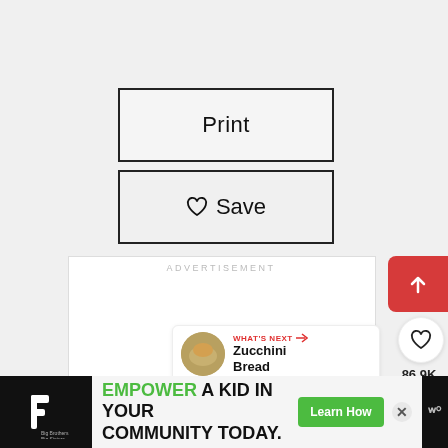Print
♡ Save
ADVERTISEMENT
86.9K
WHAT'S NEXT → Zucchini Bread
[Figure (screenshot): Advertisement banner at bottom: Big Brothers Big Sisters logo, text 'EMPOWER A KID IN YOUR COMMUNITY TODAY.' with green Learn How button and X close button]